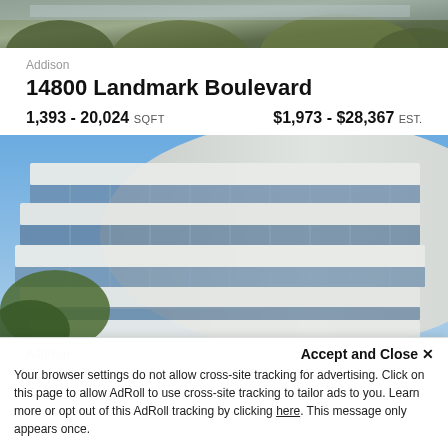[Figure (photo): Top portion of a building/cityscape photo, cropped, showing rooftop and trees]
Addison
14800 Landmark Boulevard
1,393 - 20,024 SQFT   $1,973 - $28,367 EST.
[Figure (photo): Curved glass office building with horizontal bands of windows and white panels, photographed from street level with blue sky and trees]
Addison
Accept and Close ✕
Your browser settings do not allow cross-site tracking for advertising. Click on this page to allow AdRoll to use cross-site tracking to tailor ads to you. Learn more or opt out of this AdRoll tracking by clicking here. This message only appears once.